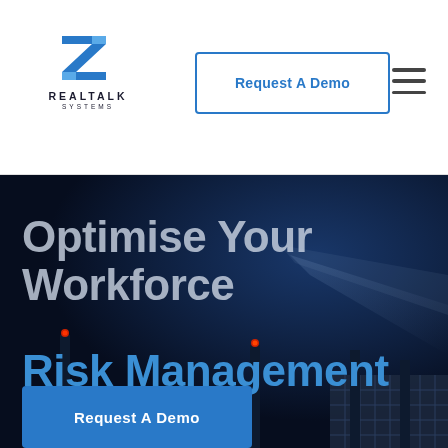[Figure (logo): RealTalk Systems logo with stylized blue Z/R mark and company name text below]
Request A Demo
Optimise Your Workforce Risk Management
Request A Demo